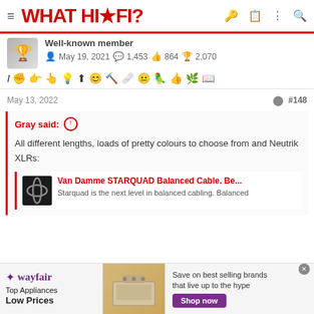WHAT HI-FI?
Well-known member  May 19, 2021  1,453  864  2,070
May 13, 2022  #148
Gray said: ↑
All different lengths, loads of pretty colours to choose from and Neutrik XLRs:
Van Damme STARQUAD Balanced Cable. Be...
Starquad is the next level in balanced cabling. Balanced
[Figure (screenshot): Wayfair advertisement banner showing Top Appliances Low Prices, a stove image, and Shop now button]